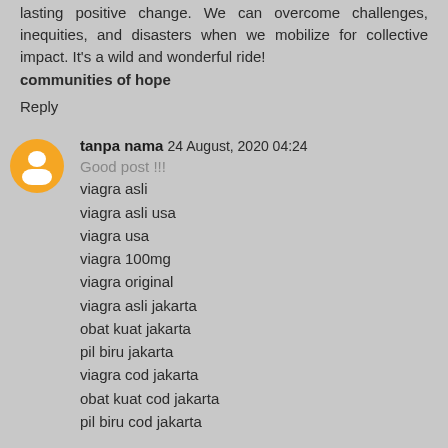lasting positive change. We can overcome challenges, inequities, and disasters when we mobilize for collective impact. It's a wild and wonderful ride! communities of hope
Reply
tanpa nama 24 August, 2020 04:24
Good post !!!
viagra asli
viagra asli usa
viagra usa
viagra 100mg
viagra original
viagra asli jakarta
obat kuat jakarta
pil biru jakarta
viagra cod jakarta
obat kuat cod jakarta
pil biru cod jakarta